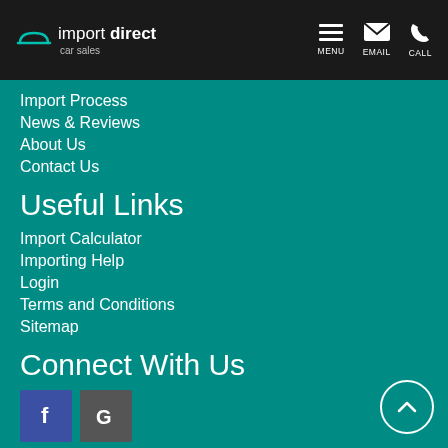import direct car sales | MENU | EMAIL | CALL
Import Process
News & Reviews
About Us
Contact Us
Useful Links
Import Calculator
Importing Help
Login
Terms and Conditions
Sitemap
Connect With Us
[Figure (logo): Facebook icon button (blue square with white f)]
[Figure (logo): Google icon button (dark grey square with white G)]